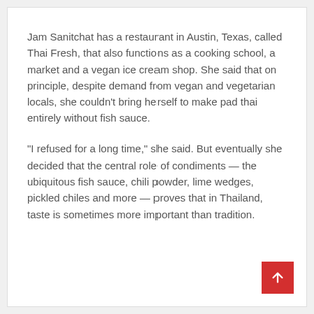Jam Sanitchat has a restaurant in Austin, Texas, called Thai Fresh, that also functions as a cooking school, a market and a vegan ice cream shop. She said that on principle, despite demand from vegan and vegetarian locals, she couldn't bring herself to make pad thai entirely without fish sauce.
“I refused for a long time,” she said. But eventually she decided that the central role of condiments — the ubiquitous fish sauce, chili powder, lime wedges, pickled chiles and more — proves that in Thailand, taste is sometimes more important than tradition.